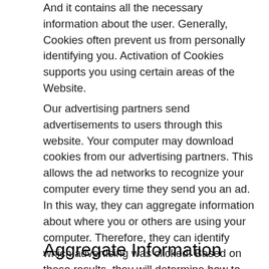And it contains all the necessary information about the user. Generally, Cookies often prevent us from personally identifying you. Activation of Cookies supports you using certain areas of the Website.
Our advertising partners send advertisements to users through this website. Your computer may download cookies from our advertising partners. This allows the ad networks to recognize your computer every time they send you an ad. In this way, they can aggregate information about where you or others are using your computer. Therefore, they can identify which advertising was clicked. Based on these results, they will determine how to serve ads to the goals they believe you will be most interested in. The Cbeebies Games website can not access or control the cookies which may be set by third party advertisers.
Aggregate Information